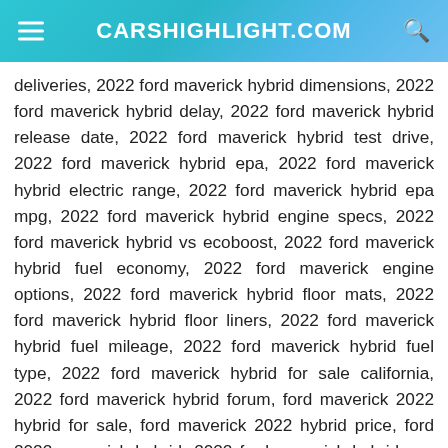CARSHIGHLIGHT.COM
deliveries, 2022 ford maverick hybrid dimensions, 2022 ford maverick hybrid delay, 2022 ford maverick hybrid release date, 2022 ford maverick hybrid test drive, 2022 ford maverick hybrid epa, 2022 ford maverick hybrid electric range, 2022 ford maverick hybrid epa mpg, 2022 ford maverick hybrid engine specs, 2022 ford maverick hybrid vs ecoboost, 2022 ford maverick hybrid fuel economy, 2022 ford maverick engine options, 2022 ford maverick hybrid floor mats, 2022 ford maverick hybrid floor liners, 2022 ford maverick hybrid fuel mileage, 2022 ford maverick hybrid fuel type, 2022 ford maverick hybrid for sale california, 2022 ford maverick hybrid forum, ford maverick 2022 hybrid for sale, ford maverick 2022 hybrid price, ford 2022 maverick hybrid, 2022 ford maverick hybrid gas mileage, 2022 ford maverick hybrid